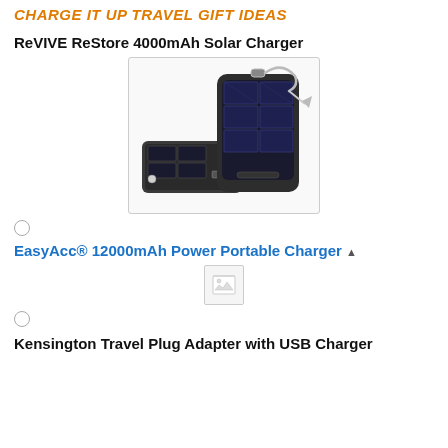CHARGE IT UP TRAVEL GIFT IDEAS
ReVIVE ReStore 4000mAh Solar Charger
[Figure (photo): Photo of ReVIVE ReStore 4000mAh Solar Charger - two black solar-panel charger devices shown at angles]
(radio button / selection indicator)
EasyAcc® 12000mAh Power Portable Charger
[Figure (photo): Broken/missing image placeholder for EasyAcc product photo]
(radio button / selection indicator)
Kensington Travel Plug Adapter with USB Charger